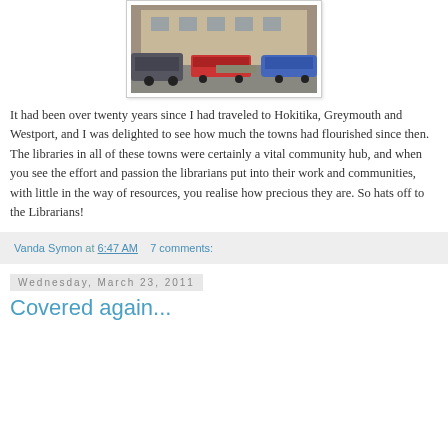[Figure (photo): Photograph of a town street scene with vehicles parked in front of a large stone/brick building. Vehicles include SUVs, a red truck with a flatbed, and a blue car. The building appears to be a public or civic building.]
It had been over twenty years since I had traveled to Hokitika, Greymouth and Westport, and I was delighted to see how much the towns had flourished since then. The libraries in all of these towns were certainly a vital community hub, and when you see the effort and passion the librarians put into their work and communities, with little in the way of resources, you realise how precious they are. So hats off to the Librarians!
Vanda Symon at 6:47 AM   7 comments:
Wednesday, March 23, 2011
Covered again...